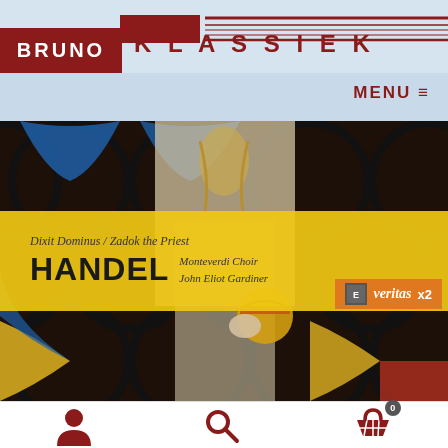BRUNO KLASSIEK
MENU ≡
[Figure (screenshot): Stained glass window image with a yellow banner overlay showing album artwork for Handel's Dixit Dominus / Zadok the Priest performed by Monteverdi Choir, John Eliot Gardiner. Veritas x2 badge in bottom right. Background is a colorful stained glass window featuring a religious figure.]
Dixit Dominus / Zadok the Priest — HANDEL — Monteverdi Choir, John Eliot Gardiner — veritas x2